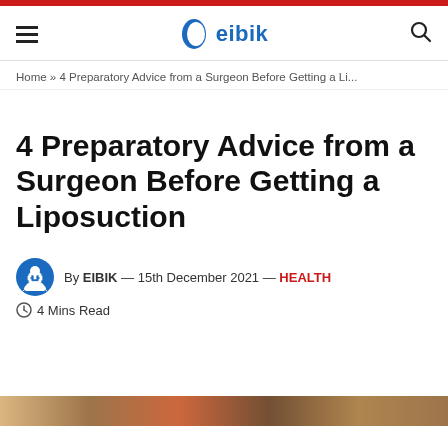eibik
Home » 4 Preparatory Advice from a Surgeon Before Getting a Li...
4 Preparatory Advice from a Surgeon Before Getting a Liposuction
By EIBIK — 15th December 2021 — HEALTH
4 Mins Read
[Figure (photo): Partial image strip at bottom of page showing skin-toned/medical photograph cropped horizontally]